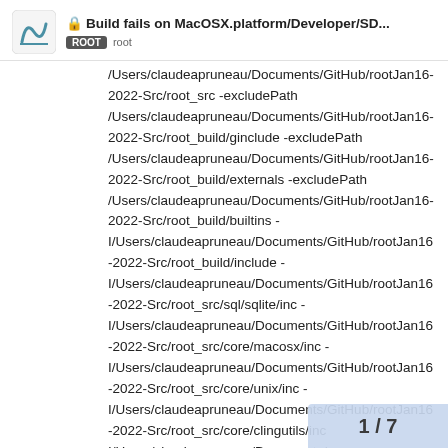Build fails on MacOSX.platform/Developer/SD... ROOT root
/Users/claudeapruneau/Documents/GitHub/rootJan16-2022-Src/root_src -excludePath /Users/claudeapruneau/Documents/GitHub/rootJan16-2022-Src/root_build/ginclude -excludePath /Users/claudeapruneau/Documents/GitHub/rootJan16-2022-Src/root_build/externals -excludePath /Users/claudeapruneau/Documents/GitHub/rootJan16-2022-Src/root_build/builtins -I/Users/claudeapruneau/Documents/GitHub/rootJan16-2022-Src/root_build/include -I/Users/claudeapruneau/Documents/GitHub/rootJan16-2022-Src/root_src/sql/sqlite/inc -I/Users/claudeapruneau/Documents/GitHub/rootJan16-2022-Src/root_src/core/macosx/inc -I/Users/claudeapruneau/Documents/GitHub/rootJan16-2022-Src/root_src/core/unix/inc -I/Users/claudeapruneau/Documents/GitHub/rootJan16-2022-Src/root_src/core/clingutils/inc I/Users/claudeapruneau/Documents/
1 / 7